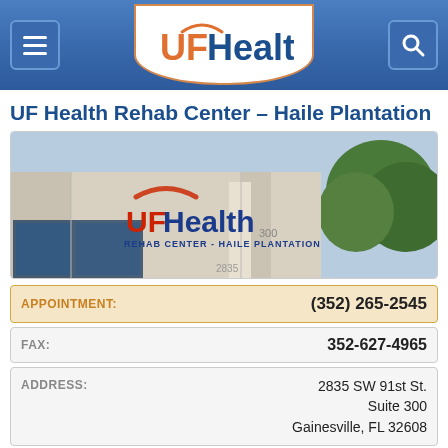[Figure (logo): UF Health logo in orange and blue on white background with orange border, displayed in a navigation header bar with menu and search buttons]
UF Health Rehab Center – Haile Plantation
[Figure (photo): Exterior photo of the UF Health Rehab Center – Haile Plantation building showing the UF Health sign on a beige stucco building with trees in the background]
| Label | Value |
| --- | --- |
| APPOINTMENT: | (352) 265-2545 |
| FAX: | 352-627-4965 |
| ADDRESS: | 2835 SW 91st St.
Suite 300
Gainesville, FL 32608 |
| HOURS OF OPERATION |  |